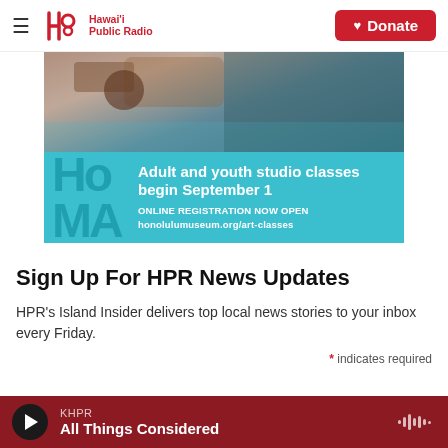Hawai'i Public Radio — Donate
[Figure (illustration): HoMA advertisement banner showing adult and youth studio classes begin September 1. Online registration now open at honolulumuseum.org/art-classes. Top portion shows a person working at a studio table. Bottom portion is teal with HoMA letters and text.]
Sign Up For HPR News Updates
HPR's Island Insider delivers top local news stories to your inbox every Friday.
* indicates required
KHPR — All Things Considered